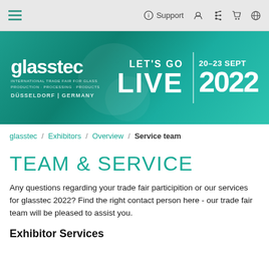glasstec — Support — navigation icons
[Figure (screenshot): Glasstec trade fair banner: logo on left reading 'glasstec — International Trade Fair for Glass Production · Processing · Products — Düsseldorf | Germany', and on right 'LET'S GO LIVE | 20-23 SEPT 2022' in large white text on teal/green gradient background]
glasstec / Exhibitors / Overview / Service team
TEAM & SERVICE
Any questions regarding your trade fair participition or our services for glasstec 2022? Find the right contact person here - our trade fair team will be pleased to assist you.
Exhibitor Services